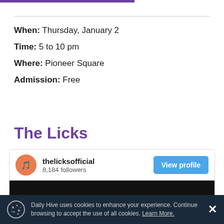When: Thursday, January 2
Time: 5 to 10 pm
Where: Pioneer Square
Admission: Free
The Licks
[Figure (screenshot): Social media profile card for thelicksofficial showing 8,184 followers and a View profile button, with a dark concert photo below]
Daily Hive uses cookies to enhance your experience. Continue browsing to accept the use of all cookies. Learn More.